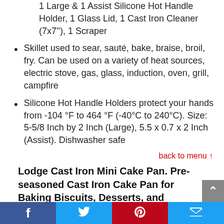1 Large & 1 Assist Silicone Hot Handle Holder, 1 Glass Lid, 1 Cast Iron Cleaner (7x7''), 1 Scraper
Skillet used to sear, sauté, bake, braise, broil, fry. Can be used on a variety of heat sources, electric stove, gas, glass, induction, oven, grill, campfire
Silicone Hot Handle Holders protect your hands from -104 °F to 464 °F (-40°C to 240°C). Size: 5-5/8 Inch by 2 Inch (Large), 5.5 x 0.7 x 2 Inch (Assist). Dishwasher safe
back to menu ↑
Lodge Cast Iron Mini Cake Pan. Pre-seasoned Cast Iron Cake Pan for Baking Biscuits, Desserts, and Cupcakes